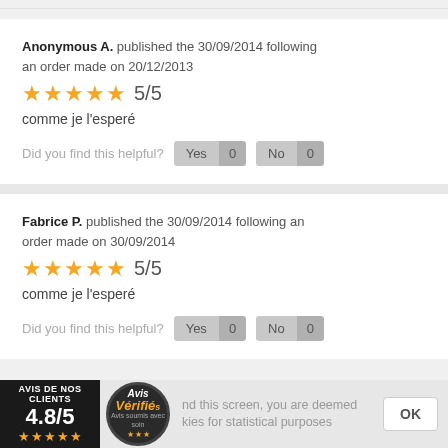Anonymous A. published the 30/09/2014 following an order made on 20/12/2013 ★★★★★ 5/5 comme je l'esperé Did you find this helpful? Yes 0 No 0
Fabrice P. published the 30/09/2014 following an order made on 30/09/2014 ★★★★★ 5/5 comme je l'esperé Did you find this helpful? Yes 0 No 0
AVIS DE NOS CLIENTS 4.8/5 ★★★★★ Avis Vérifiés — By continuing to browse this screen, you are deemed to accept the use of cookies for statistical purposes OK